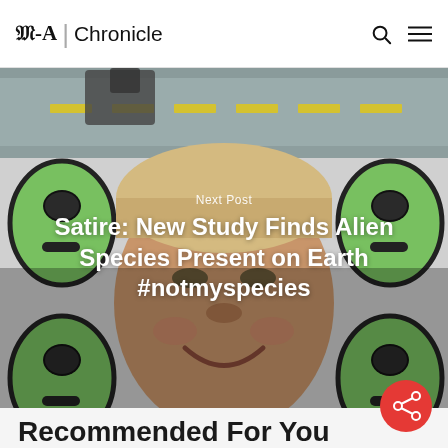M-A Chronicle
[Figure (photo): Hero image showing green alien cartoon characters on a white background, with a photographic face/head of a person in the center. Above the hero is a road banner graphic with yellow dashed lane markings.]
Next Post
Satire: New Study Finds Alien Species Present on Earth #notmyspecies
[Figure (other): Red circular share button with a share/network icon]
Recommended For You